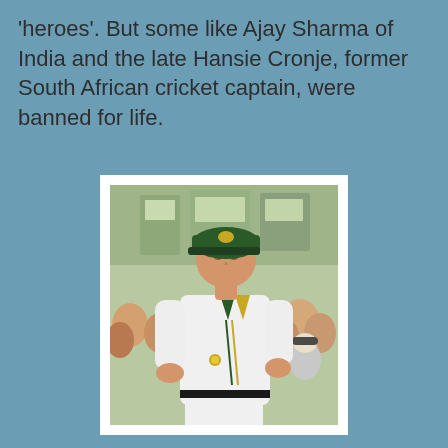'heroes'. But some like Ajay Sharma of India and the late Hansie Cronje, former South African cricket captain, were banned for life.
[Figure (photo): A man wearing a white cricket uniform with a green and gold V-neck collar, and a dark green cricket cap, walking in front of a crowd of spectators. This is believed to be Hansie Cronje, former South African cricket captain.]